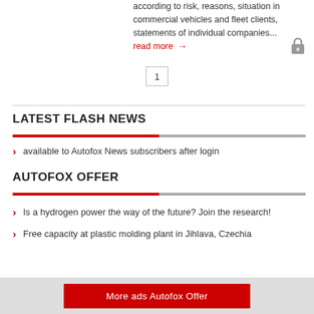according to risk, reasons, situation in commercial vehicles and fleet clients, statements of individual companies...
read more →
1
LATEST FLASH NEWS
available to Autofox News subscribers after login
AUTOFOX OFFER
Is a hydrogen power the way of the future? Join the research!
Free capacity at plastic molding plant in Jihlava, Czechia
More ads Autofox Offer